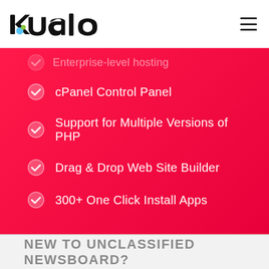kualo (logo)
Enterprise-level hosting (partial, faded)
cPanel Control Panel
Support for Multiple Versions of PHP
Drag & Drop Web Site Builder
300+ One Click Install Apps
NEW TO UNCLASSIFIED NEWSBOARD?